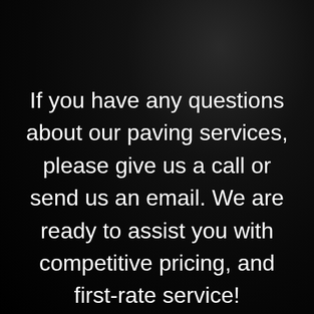If you have any questions about our paving services, please give us a call or send us an email. We are ready to assist you with competitive pricing, and first-rate service!